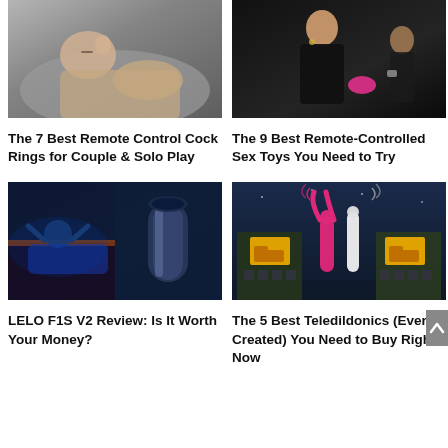[Figure (photo): Man lying in bed on gray pillow, shirtless, eyes closed, hand near face]
[Figure (photo): Woman in black outfit holding a pink device, dark dramatic background, man with watch also visible]
The 7 Best Remote Control Cock Rings for Couple & Solo Play
The 9 Best Remote-Controlled Sex Toys You Need to Try
[Figure (photo): Man reclining in blue light on left; metallic cylindrical device on right]
[Figure (photo): Illustrated scene with two buildings at night, pink rabbit vibrator and white vibrator in center with signal waves]
LELO F1S V2 Review: Is It Worth Your Money?
The 5 Best Teledildonics (Ever Created) You Need to Buy Right Now